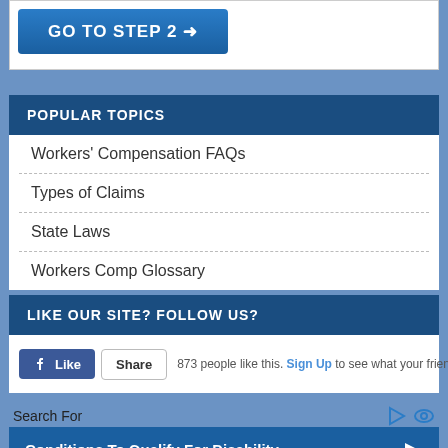[Figure (screenshot): GO TO STEP 2 button with arrow icon on dark blue background]
POPULAR TOPICS
Workers' Compensation FAQs
Types of Claims
State Laws
Workers Comp Glossary
LIKE OUR SITE? FOLLOW US?
873 people like this. Sign Up to see what your friends like.
Search For
[Figure (screenshot): Conditions To Qualify For Disability button/banner at bottom]